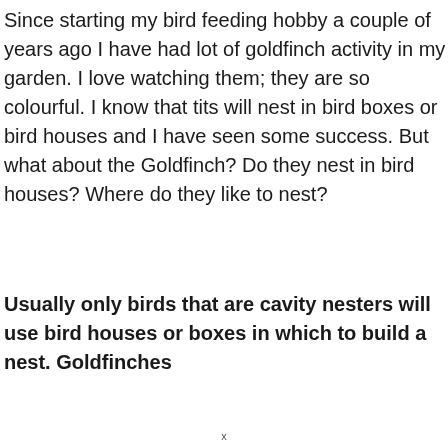Since starting my bird feeding hobby a couple of years ago I have had lot of goldfinch activity in my garden. I love watching them; they are so colourful. I know that tits will nest in bird boxes or bird houses and I have seen some success. But what about the Goldfinch? Do they nest in bird houses? Where do they like to nest?
Usually only birds that are cavity nesters will use bird houses or boxes in which to build a nest. Goldfinches
x